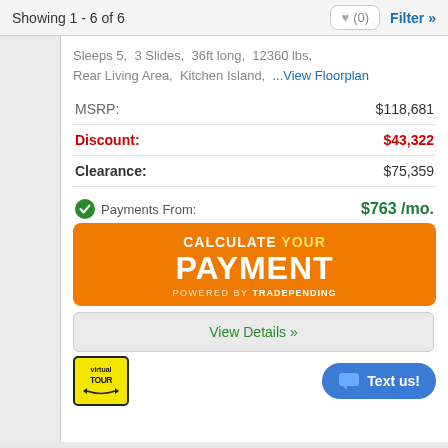Showing 1 - 6 of 6
Sleeps 5, 3 Slides, 36ft long, 12360 lbs, Rear Living Area, Kitchen Island, ...View Floorplan
| Label | Value |
| --- | --- |
| MSRP: | $118,681 |
| Discount: | $43,322 |
| Clearance: | $75,359 |
Payments From: $763 /mo.
[Figure (infographic): Orange button: CALCULATE YOUR PAYMENT - POWERED BY TRADEPENDING]
View Details »
Text us!